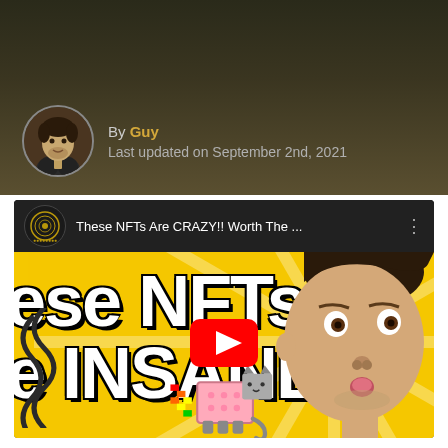By Guy
Last updated on September 2nd, 2021
[Figure (screenshot): YouTube video thumbnail screenshot showing 'These NFTs Are CRAZY!! Worth The ...' video by Coin Bureau, with bright yellow thumbnail featuring large white bold text 'ese NFTs' and 'e INSANE!!' with a play button in the center, a pixel art Nyan cat at the bottom, squiggly lines on the left, and a man's face on the right with surprised expression]